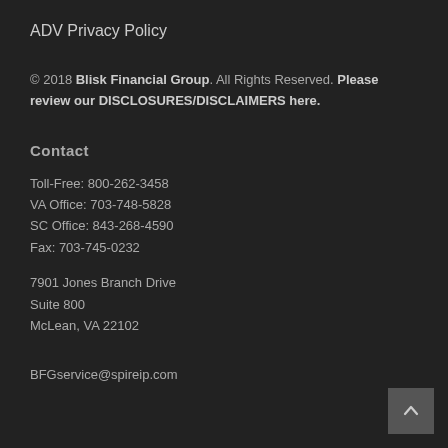ADV Privacy Policy
© 2018 Blisk Financial Group. All Rights Reserved. Please review our DISCLOSURES/DISCLAIMERS here.
Contact
Toll-Free: 800-262-3458
VA Office: 703-748-5828
SC Office: 843-268-4590
Fax: 703-745-0232
7901 Jones Branch Drive
Suite 800
McLean, VA 22102
BFGservice@spireip.com